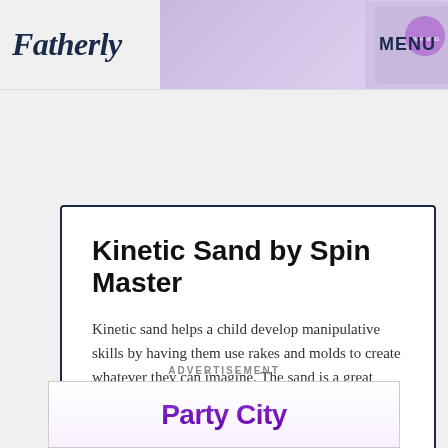Fatherly   MENU
[Figure (illustration): Top banner advertisement showing kinetic sand product - SANDisfying Set with colorful packaging on purple/lavender background]
Kinetic Sand by Spin Master
Kinetic sand helps a child develop manipulative skills by having them use rakes and molds to create whatever they can imagine. The sand is a great sensory tool because it's soft and easy to shape, then reshape again.
$19.98
BUY NOW
ADVERTISEMENT
[Figure (illustration): Party City advertisement banner with purple Party City logo on white background]